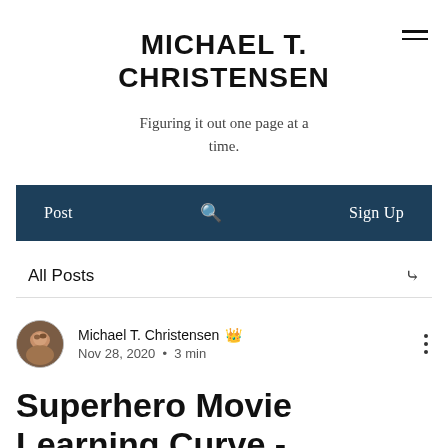MICHAEL T. CHRISTENSEN
Figuring it out one page at a time.
Post  🔍  Sign Up
All Posts
Michael T. Christensen 👑
Nov 28, 2020 · 3 min
Superhero Movie Learning Curve -